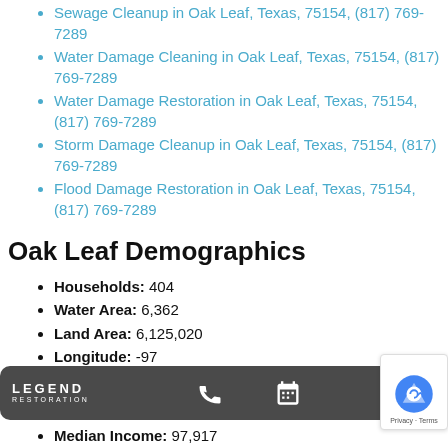Sewage Cleanup in Oak Leaf, Texas, 75154, (817) 769-7289
Water Damage Cleaning in Oak Leaf, Texas, 75154, (817) 769-7289
Water Damage Restoration in Oak Leaf, Texas, 75154, (817) 769-7289
Storm Damage Cleanup in Oak Leaf, Texas, 75154, (817) 769-7289
Flood Damage Restoration in Oak Leaf, Texas, 75154, (817) 769-7289
Oak Leaf Demographics
Households: 404
Water Area: 6,362
Land Area: 6,125,020
Longitude: -97
Population: 1,373
Median Income: 97,917